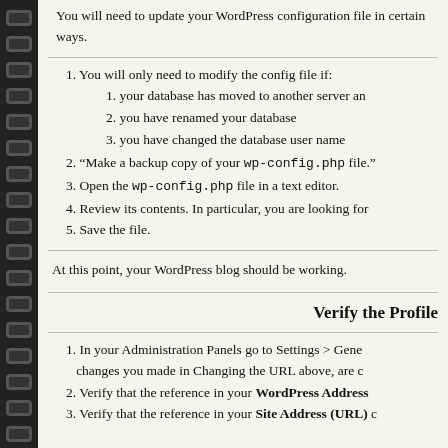You will need to update your WordPress configuration file in certain ways.
1. You will only need to modify the config file if:
1. your database has moved to another server and
2. you have renamed your database
3. you have changed the database user name
2. "Make a backup copy of your wp-config.php file."
3. Open the wp-config.php file in a text editor.
4. Review its contents. In particular, you are looking for
5. Save the file.
At this point, your WordPress blog should be working.
Verify the Profile
1. In your Administration Panels go to Settings > General changes you made in Changing the URL above, are c
2. Verify that the reference in your WordPress Address
3. Verify that the reference in your Site Address (URL) c